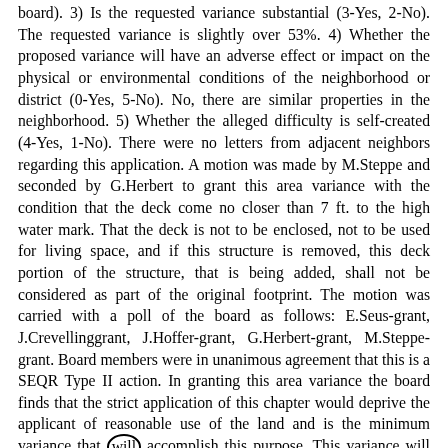board). 3) Is the requested variance substantial (3-Yes, 2-No). The requested variance is slightly over 53%. 4) Whether the proposed variance will have an adverse effect or impact on the physical or environmental conditions of the neighborhood or district (0-Yes, 5-No). No, there are similar properties in the neighborhood. 5) Whether the alleged difficulty is self-created (4-Yes, 1-No). There were no letters from adjacent neighbors regarding this application. A motion was made by M.Steppe and seconded by G.Herbert to grant this area variance with the condition that the deck come no closer than 7 ft. to the high water mark. That the deck is not to be enclosed, not to be used for living space, and if this structure is removed, this deck portion of the structure, that is being added, shall not be considered as part of the original footprint. The motion was carried with a poll of the board as follows: E.Seus-grant, J.Crevellinggrant, J.Hoffer-grant, G.Herbert-grant, M.Steppe-grant. Board members were in unanimous agreement that this is a SEQR Type II action. In granting this area variance the board finds that the strict application of this chapter would deprive the applicant of reasonable use of the land and is the minimum variance that will accomplish this purpose. This variance will not be injurious